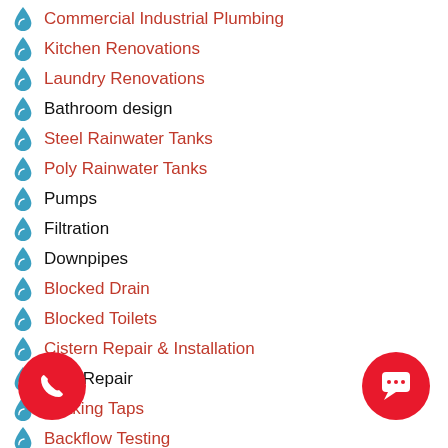Commercial Industrial Plumbing
Kitchen Renovations
Laundry Renovations
Bathroom design
Steel Rainwater Tanks
Poly Rainwater Tanks
Pumps
Filtration
Downpipes
Blocked Drain
Blocked Toilets
Cistern Repair & Installation
Pipe Repair
Leaking Taps
Backflow Testing
...ers
...ers Pump Station
Stormwater Drains